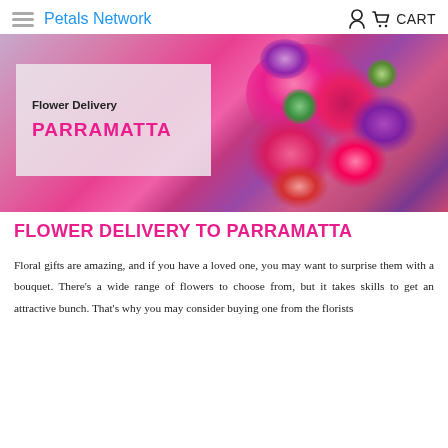Petals Network   CART
[Figure (photo): A colorful flower bouquet featuring pink roses, purple flowers, green button flowers, and pink chrysanthemums. Overlaid on the left side is a light grey semi-transparent box with text 'Flower Delivery PARRAMATTA' in bold black and pink lettering.]
FLOWER DELIVERY TO PARRAMATTA
Floral gifts are amazing, and if you have a loved one, you may want to surprise them with a bouquet. There's a wide range of flowers to choose from, but it takes skills to get an attractive bunch. That's why you may consider buying one from the florists